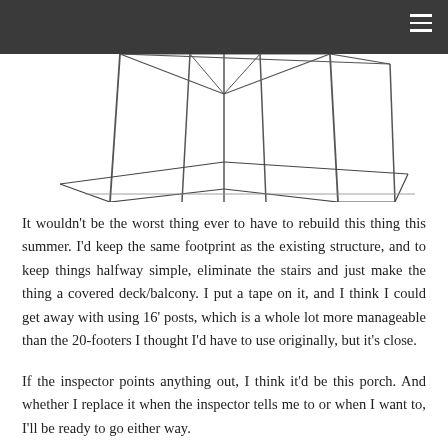[Figure (illustration): Line drawing of a covered deck/porch structure with vertical posts and a hexagonal or angled footprint, shown in perspective view from slightly above. The structure has multiple tall narrow posts supporting a roof frame, visible from a downward angle.]
It wouldn't be the worst thing ever to have to rebuild this thing this summer. I'd keep the same footprint as the existing structure, and to keep things halfway simple, eliminate the stairs and just make the thing a covered deck/balcony. I put a tape on it, and I think I could get away with using 16' posts, which is a whole lot more manageable than the 20-footers I thought I'd have to use originally, but it's close.
If the inspector points anything out, I think it'd be this porch. And whether I replace it when the inspector tells me to or when I want to, I'll be ready to go either way.